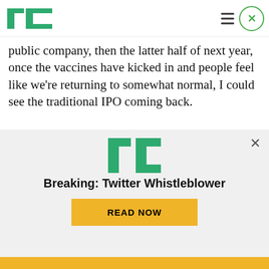TechCrunch logo, hamburger menu, close button
public company, then the latter half of next year, once the vaccines have kicked in and people feel like we're returning to somewhat normal, I could see the traditional IPO coming back.
TC: When we sat down in person about a year ago, you said Emergence looks at maybe 1,000 deals a year, does deep due diligence on 25 and funds just a handful or so of those startups
[Figure (screenshot): TechCrunch advertisement overlay with TC logo, 'Breaking: Twitter Whistleblower' headline, and a yellow READ NOW button. A close X button is in the top right corner.]
Breaking: Twitter Whistleblower
READ NOW